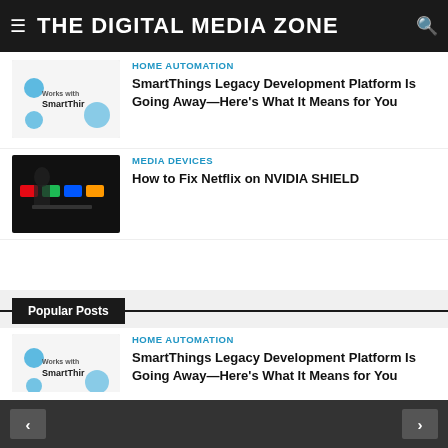THE DIGITAL MEDIA ZONE
HOME AUTOMATION
SmartThings Legacy Development Platform Is Going Away—Here's What It Means for You
[Figure (screenshot): SmartThings logo thumbnail showing 'Works with SmartThings' branding]
MEDIA DEVICES
How to Fix Netflix on NVIDIA SHIELD
[Figure (screenshot): Dark TV screen showing streaming apps including Netflix]
Popular Posts
HOME AUTOMATION
SmartThings Legacy Development Platform Is Going Away—Here's What It Means for You
[Figure (screenshot): SmartThings logo thumbnail showing 'Works with SmartThings' branding]
MEDIA DEVICES
How to Fix Netflix on NVIDIA SHIELD
[Figure (screenshot): Dark TV screen partial view]